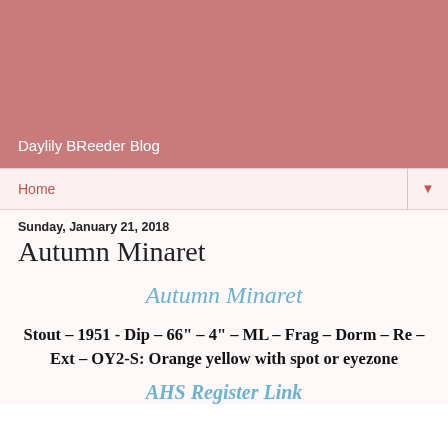Daylily BReeder Blog
Home
Sunday, January 21, 2018
Autumn Minaret
Autumn Minaret
Stout – 1951 - Dip – 66" – 4" – ML – Frag – Dorm – Re – Ext – OY2-S: Orange yellow with spot or eyezone
AHS Register Link